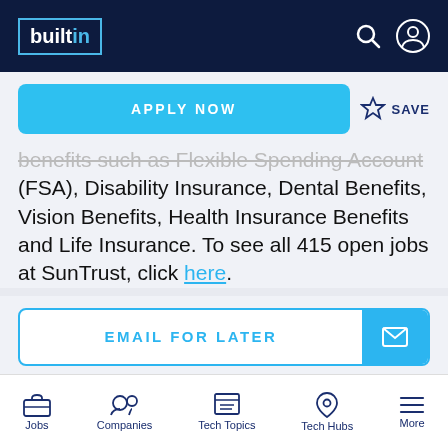builtin
APPLY NOW
SAVE
benefits such as Flexible Spending Account (FSA), Disability Insurance, Dental Benefits, Vision Benefits, Health Insurance Benefits and Life Insurance. To see all 415 open jobs at SunTrust, click here.
EMAIL FOR LATER
Jobs  Companies  Tech Topics  Tech Hubs  More